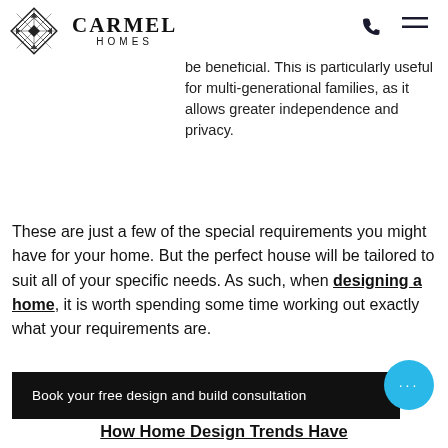CARMEL HOMES
composition of your household, the must create tes or a separate self-contained space may be beneficial. This is particularly useful for multi-generational families, as it allows greater independence and privacy.
These are just a few of the special requirements you might have for your home. But the perfect house will be tailored to suit all of your specific needs. As such, when designing a home, it is worth spending some time working out exactly what your requirements are.
Book your free design and build consultation
How Home Design Trends Have